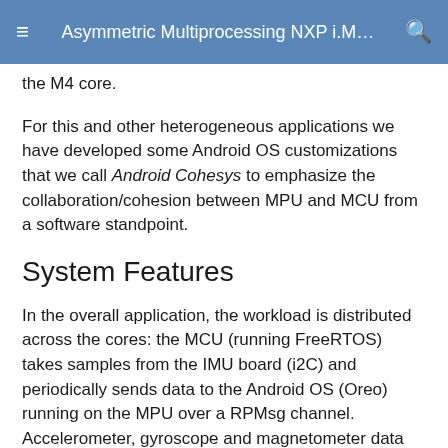Asymmetric Multiprocessing NXP i.M…
the M4 core.
For this and other heterogeneous applications we have developed some Android OS customizations that we call Android Cohesys to emphasize the collaboration/cohesion between MPU and MCU from a software standpoint.
System Features
In the overall application, the workload is distributed across the cores: the MCU (running FreeRTOS) takes samples from the IMU board (i2C) and periodically sends data to the Android OS (Oreo) running on the MPU over a RPMsg channel. Accelerometer, gyroscope and magnetometer data are then plotted by an Android App. The Android App nicely shows also dome statistics about